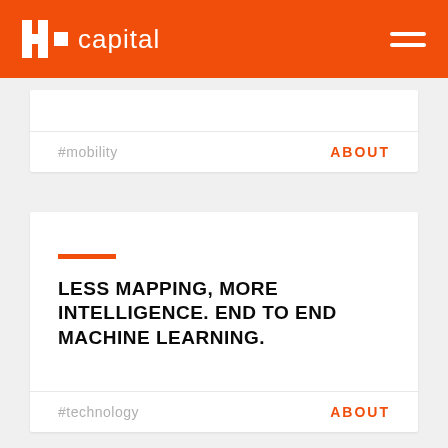HI capital
#mobility
About
[Figure (other): Orange horizontal bar divider]
LESS MAPPING, MORE INTELLIGENCE. END TO END MACHINE LEARNING.
#technology
About